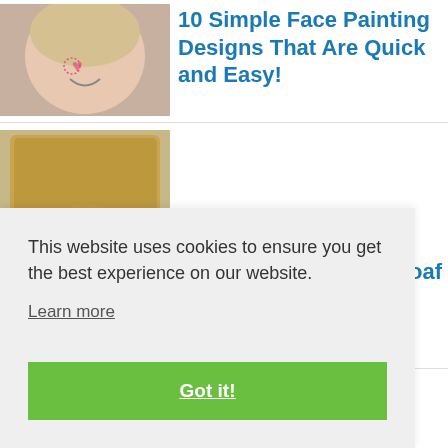[Figure (photo): Child with face painting - a heart design on cheek]
10 Simple Face Painting Designs That Are Quick and Easy!
[Figure (photo): Plate of food with meat, rice, and broccoli]
oaf
This website uses cookies to ensure you get the best experience on our website.
Learn more
Got it!
[Figure (photo): Pasta dish visible at bottom of page]